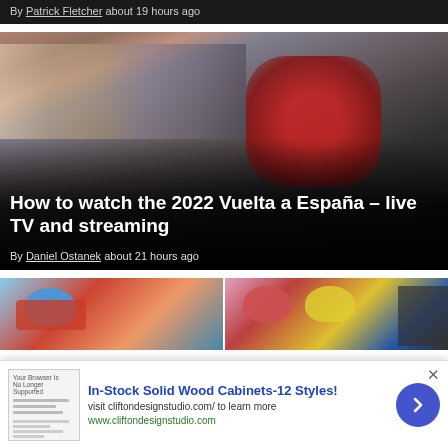By Patrick Fletcher about 19 hours ago
[Figure (photo): Cyclist in red jersey racing past crowd at Vuelta a España]
How to watch the 2022 Vuelta a España – live TV and streaming
By Daniel Ostanek about 21 hours ago
[Figure (photo): Two thumbnail photos of cyclists]
In-Stock Solid Wood Cabinets-12 Styles! visit cliftondesignstudio.com/ to learn more www.cliftondesignstudio.com